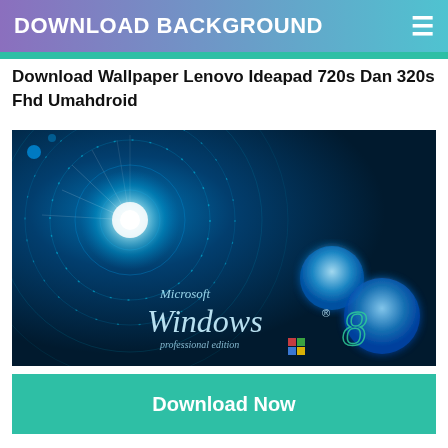DOWNLOAD BACKGROUND
Download Wallpaper Lenovo Ideapad 720s Dan 320s Fhd Umahdroid
[Figure (screenshot): Windows 8 Professional Edition wallpaper with blue glowing orbs, circular tech rings, bright light burst effect on dark blue background. Text reads: Microsoft Windows 8 professional edition]
Download Now